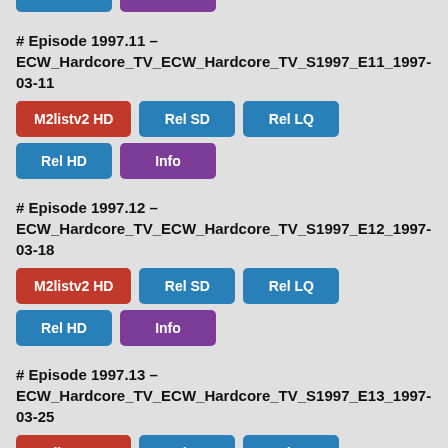# Episode 1997.11 – ECW_Hardcore_TV_ECW_Hardcore_TV_S1997_E11_1997-03-11
# Episode 1997.12 – ECW_Hardcore_TV_ECW_Hardcore_TV_S1997_E12_1997-03-18
# Episode 1997.13 – ECW_Hardcore_TV_ECW_Hardcore_TV_S1997_E13_1997-03-25